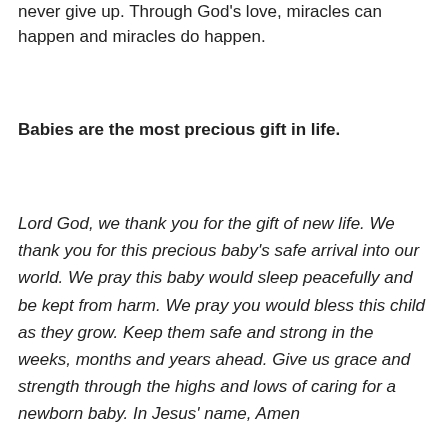never give up. Through God's love, miracles can happen and miracles do happen.
Babies are the most precious gift in life.
Lord God, we thank you for the gift of new life. We thank you for this precious baby's safe arrival into our world. We pray this baby would sleep peacefully and be kept from harm. We pray you would bless this child as they grow. Keep them safe and strong in the weeks, months and years ahead. Give us grace and strength through the highs and lows of caring for a newborn baby. In Jesus' name, Amen